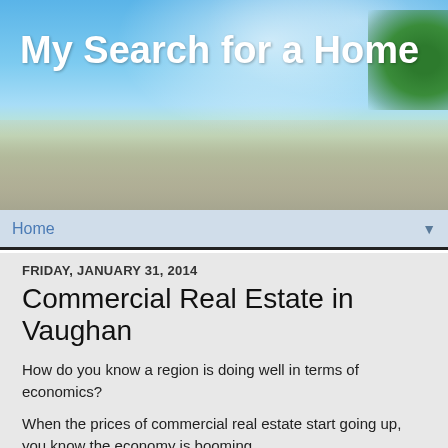[Figure (photo): Blog header banner with a road and sky landscape background, trees on the right side]
My Search for a Home
Home ▼
FRIDAY, JANUARY 31, 2014
Commercial Real Estate in Vaughan
How do you know a region is doing well in terms of economics?
When the prices of commercial real estate start going up, you know the economy is booming.
In Toronto this is really evident in the satellite regions of the GTA, places like Vaughan, Richmond Hill, Markham, Woodbridge and Thornhill.